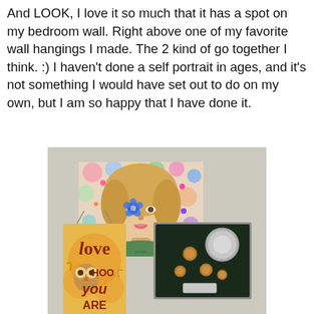And LOOK, I love it so much that it has a spot on my bedroom wall. Right above one of my favorite wall hangings I made. The 2 kind of go together I think. :) I haven't done a self portrait in ages, and it's not something I would have set out to do on my own, but I am so happy that I have done it.
[Figure (photo): Photograph of a bedroom wall showing three wall hangings: a colorful mixed-media self portrait painting of a woman with blonde hair and a blue flower, a decorative sign reading 'Love Hoo You Are' with an owl graphic, and a framed coin/medal display in a dark frame.]